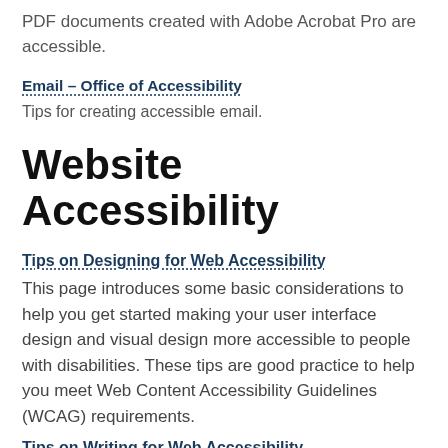PDF documents created with Adobe Acrobat Pro are accessible.
Email – Office of Accessibility
Tips for creating accessible email.
Website Accessibility
Tips on Designing for Web Accessibility
This page introduces some basic considerations to help you get started making your user interface design and visual design more accessible to people with disabilities. These tips are good practice to help you meet Web Content Accessibility Guidelines (WCAG) requirements.
Tips on Writing for Web Accessibility
This page introduces some basic considerations